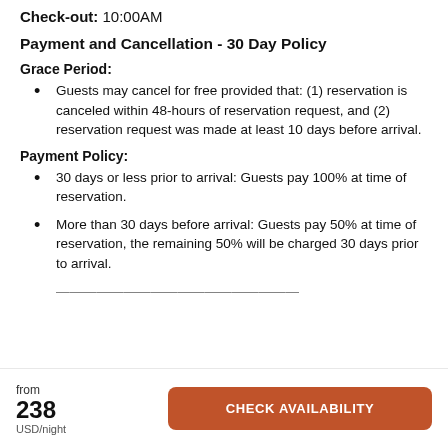Check-out: 10:00AM
Payment and Cancellation - 30 Day Policy
Grace Period:
Guests may cancel for free provided that: (1) reservation is canceled within 48-hours of reservation request, and (2) reservation request was made at least 10 days before arrival.
Payment Policy:
30 days or less prior to arrival: Guests pay 100% at time of reservation.
More than 30 days before arrival: Guests pay 50% at time of reservation, the remaining 50% will be charged 30 days prior to arrival.
from
238
USD/night
CHECK AVAILABILITY